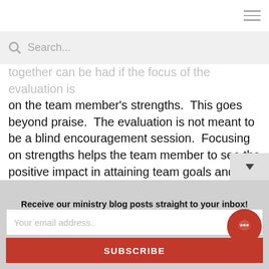Search...
together can be had if the focus of the evaluation is on the team member's strengths.  This goes beyond praise.  The evaluation is not meant to be a blind encouragement session.  Focusing on strengths helps the team member to see the positive impact in attaining team goals and objectives that he or she is having.  Focusing on strengths gives the team member information on where he or she should be spending the bulk of his or her time during the working day.  Yes, there will be weaknesses.  Ra
Receive our ministry blog posts straight to your inbox!
Your email address..
SUBSCRIBE